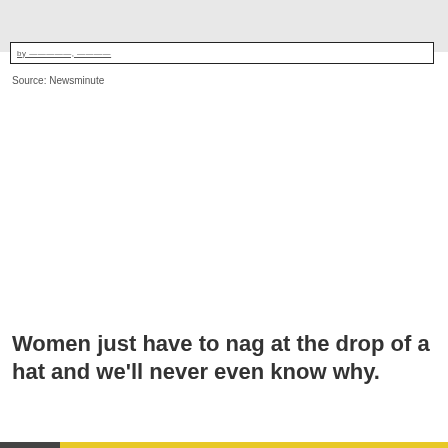by ——————, ————
Source: Newsminute
Women just have to nag at the drop of a hat and we'll never even know why.